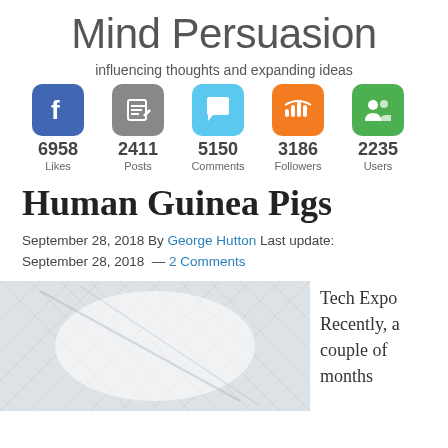Mind Persuasion
influencing thoughts and expanding ideas
[Figure (infographic): Social media stats bar: Facebook 6958 Likes, Posts 2411, Comments 5150, Followers 3186, Users 2235]
Human Guinea Pigs
September 28, 2018 By George Hutton Last update: September 28, 2018 — 2 Comments
[Figure (photo): Close-up photo of white bandaged/gauze material]
Tech Expo Recently, a couple of months